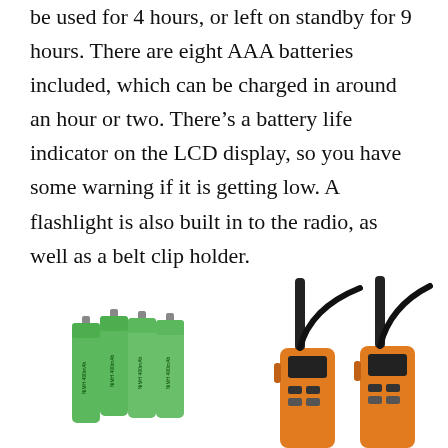be used for 4 hours, or left on standby for 9 hours. There are eight AAA batteries included, which can be charged in around an hour or two. There’s a battery life indicator on the LCD display, so you have some warning if it is getting low. A flashlight is also built in to the radio, as well as a belt clip holder.
[Figure (photo): Photo showing four green AAA rechargeable batteries on the left, and two orange walkie-talkie radios with black antennas and charging cables on the right.]